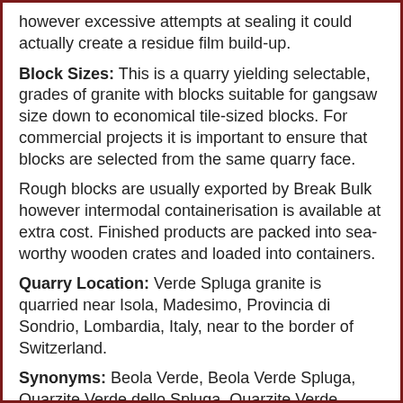however excessive attempts at sealing it could actually create a residue film build-up.
Block Sizes: This is a quarry yielding selectable, grades of granite with blocks suitable for gangsaw size down to economical tile-sized blocks. For commercial projects it is important to ensure that blocks are selected from the same quarry face.
Rough blocks are usually exported by Break Bulk however intermodal containerisation is available at extra cost. Finished products are packed into sea-worthy wooden crates and loaded into containers.
Quarry Location: Verde Spluga granite is quarried near Isola, Madesimo, Provincia di Sondrio, Lombardia, Italy, near to the border of Switzerland.
Synonyms: Beola Verde, Beola Verde Spluga, Quarzite Verde dello Spluga, Quarzite Verde Spluga (according to EN 12440, addendum A), Spluegen, Spluegen Quarzit, Spluegen-Quarzit, Spluegen